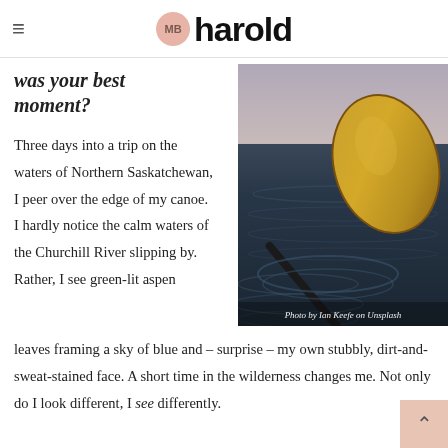≡  MB  harold
was your best moment?
Three days into a trip on the waters of Northern Saskatchewan, I peer over the edge of my canoe. I hardly notice the calm waters of the Churchill River slipping by. Rather, I see green-lit aspen
[Figure (photo): Close-up photograph of a golden kayak paddle blade resting on dark blue rippling water, with sunset sky reflection.]
Photo by Ian Keefe on Unsplash
leaves framing a sky of blue and – surprise – my own stubbly, dirt-and-sweat-stained face. A short time in the wilderness changes me. Not only do I look different, I see differently.